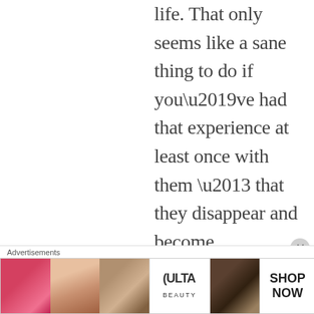life. That only seems like a sane thing to do if you’ve had that experience at least once with them – that they disappear and become God’s representative in your life making sense of who you are as a woman, and that you feel at some moment that you disappear and God
Advertisements
[Figure (other): ULTA beauty advertisement banner showing makeup imagery (lips, brush, eye, ULTA logo, dark eye) with SHOP NOW call to action]